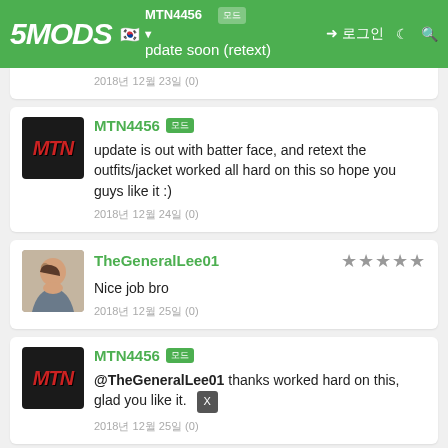5MODS navigation bar with logo, Korean flag, user MTN4456, login button
update soon (retext)
2018년 12월 23일 (0)
MTN4456 [모드] update is out with batter face, and retext the outfits/jacket worked all hard on this so hope you guys like it :)
2018년 12월 24일 (0)
TheGeneralLee01 ★★★★★ Nice job bro
2018년 12월 25일 (0)
MTN4456 [모드] @TheGeneralLee01 thanks worked hard on this, glad you like it.
2018년 12월 25일 (0)